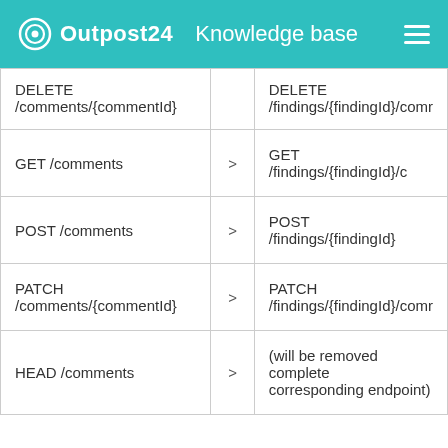Outpost24  Knowledge base
| Old endpoint |  | New endpoint |
| --- | --- | --- |
| DELETE /comments/{commentId} | > | DELETE /findings/{findingId}/comr... |
| GET /comments | > | GET /findings/{findingId}/c... |
| POST /comments | > | POST /findings/{findingId}... |
| PATCH /comments/{commentId} | > | PATCH /findings/{findingId}/comr... |
| HEAD /comments | > | (will be removed completely... corresponding endpoint) |